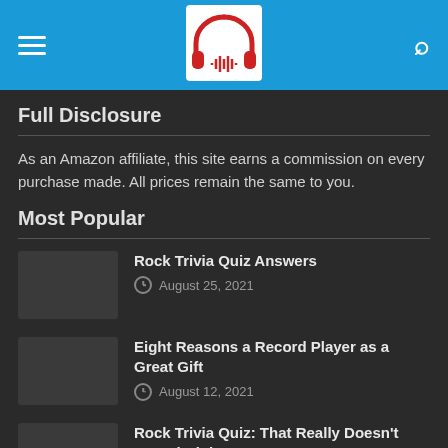Navigation bar with hamburger menu, headphone logo, and search icon
Full Disclosure
As an Amazon affiliate, this site earns a commission on every purchase made. All prices remain the same to you.
Most Popular
Rock Trivia Quiz Answers
August 25, 2021
Eight Reasons a Record Player as a Great Gift
August 12, 2021
Rock Trivia Quiz: That Really Doesn't Sound Right...
August 9, 2021